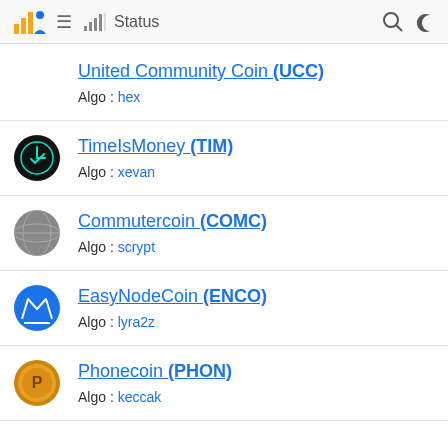Status
United Community Coin (UCC)
Algo : hex
TimeIsMoney (TIM)
Algo : xevan
Commutercoin (COMC)
Algo : scrypt
EasyNodeCoin (ENCO)
Algo : lyra2z
Phonecoin (PHON)
Algo : keccak